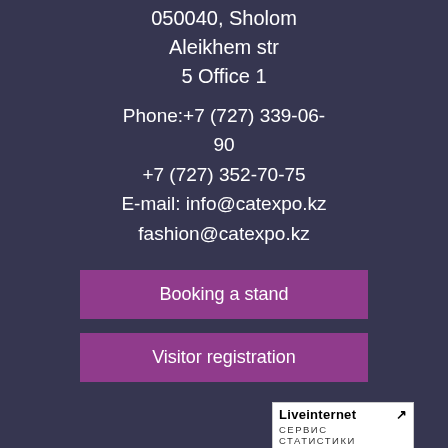050040, Sholom Aleikhem str 5 Office 1
Phone:+7 (727) 339-06-90
+7 (727) 352-70-75
E-mail: info@catexpo.kz
fashion@catexpo.kz
Booking a stand
Visitor registration
[Figure (logo): Liveinternet statistics service badge with arrow and Cyrillic text СЕРВИС СТАТИСТИКИ]
[Figure (infographic): Row of five social media icon circles: Telegram, YouTube, VK, Facebook, Instagram]